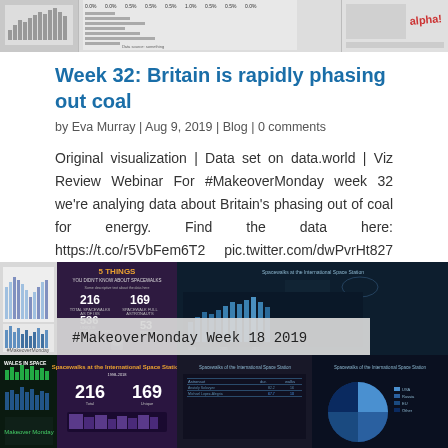[Figure (screenshot): Top strip showing three screenshot thumbnails of data visualizations from a blog/website]
Week 32: Britain is rapidly phasing out coal
by Eva Murray | Aug 9, 2019 | Blog | 0 comments
Original visualization | Data set on data.world | Viz Review Webinar For #MakeoverMonday week 32 we're analying data about Britain's phasing out of coal for energy. Find the data here: https://t.co/r5VbFem6T2 pic.twitter.com/dwPvrHt827 — Eva Murray…
[Figure (screenshot): Bottom collage grid showing multiple #MakeoverMonday Week 18 2019 visualization thumbnails including spacewalk infographic, Wales in Space, and ISS data visualizations]